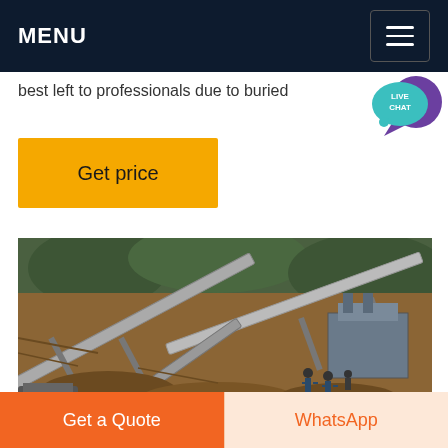MENU
best left to professionals due to buried
Get price
[Figure (photo): Aerial view of a mining quarry with conveyor belts, ore material, and workers visible on site]
Get a Quote
WhatsApp